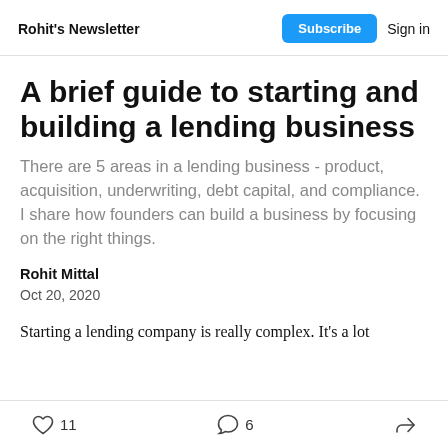Rohit's Newsletter | Subscribe | Sign in
A brief guide to starting and building a lending business
There are 5 areas in a lending business - product, acquisition, underwriting, debt capital, and compliance. I share how founders can build a business by focusing on the right things.
Rohit Mittal
Oct 20, 2020
Starting a lending company is really complex. It's a lot
11 likes  6 comments  share